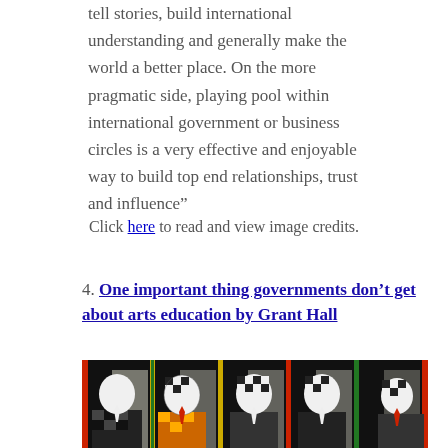tell stories, build international understanding and generally make the world a better place. On the more pragmatic side, playing pool within international government or business circles is a very effective and enjoyable way to build top end relationships, trust and influence”
Click here to read and view image credits.
4. One important thing governments don’t get about arts education by Grant Hall
[Figure (photo): Artwork showing five stylized figures with checkered oval heads wearing patterned suits in various colors against a dark background with colored vertical stripes.]